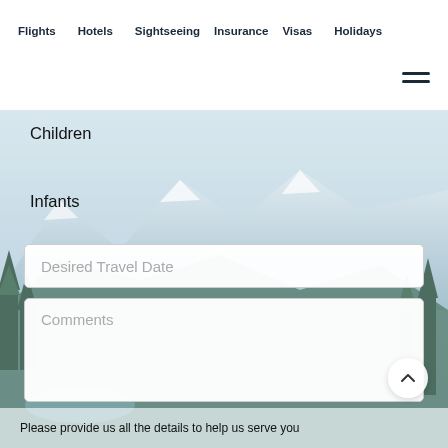Flights  Hotels  Sightseeing  Insurance  Visas  Holidays
Children
Infants
Desired Travel Date
Comments
Please provide us all the details to help us serve you